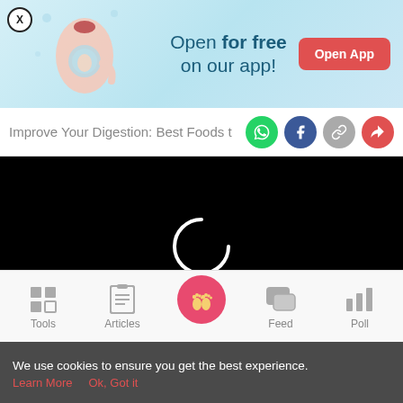[Figure (illustration): App promotion banner with illustrated pregnant woman, showing 'Open for free on our app!' text and an 'Open App' button. Has a close (X) button in top-left.]
Improve Your Digestion: Best Foods t
[Figure (screenshot): Video player area showing a black screen with a white loading spinner (partial circle) in the center, indicating video is buffering.]
[Figure (infographic): Bottom navigation bar with icons: Tools (grid icon), Articles (clipboard icon), center home button (footprints on pink circle), Feed (chat bubble icon), Poll (bar chart icon).]
We use cookies to ensure you get the best experience.
Learn More   Ok, Got it